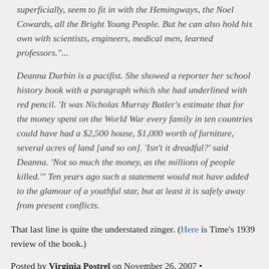superficially, seem to fit in with the Hemingways, the Noel Cowards, all the Bright Young People. But he can also hold his own with scientists, engineers, medical men, learned professors."...
Deanna Durbin is a pacifist. She showed a reporter her school history book with a paragraph which she had underlined with red pencil. 'It was Nicholas Murray Butler's estimate that for the money spent on the World War every family in ten countries could have had a $2,500 house, $1,000 worth of furniture, several acres of land [and so on]. 'Isn't it dreadful?' said Deanna. 'Not so much the money, as the millions of people killed.'" Ten years ago such a statement would not have added to the glamour of a youthful star, but at least it is safely away from present conflicts.
That last line is quite the understated zinger. (Here is Time's 1939 review of the book.)
Posted by Virginia Postrel on November 26, 2007 •